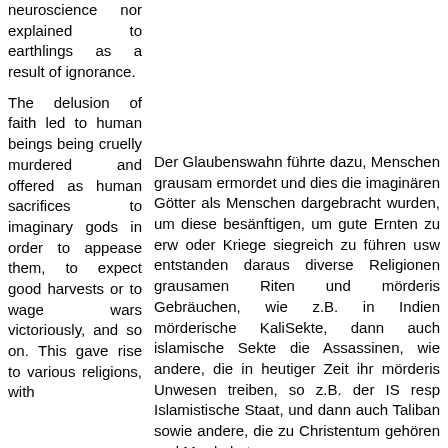neuroscience nor explained to earthlings as a result of ignorance.
The delusion of faith led to human beings being cruelly murdered and offered as human sacrifices to imaginary gods in order to appease them, to expect good harvests or to wage wars victoriously, and so on. This gave rise to various religions, with
Der Glaubenswahn führte dazu, Menschen grausam ermordet und dies die imaginären Götter als Menschen dargebracht wurden, um diese besänftigen, um gute Ernten zu erw oder Kriege siegreich zu führen usw entstanden daraus diverse Religionen grausamen Riten und mörderis Gebräuchen, wie z.B. in Indien mörderische KaliSekte, dann auch islamische Sekte die Assassinen, wie andere, die in heutiger Zeit ihr mörderis Unwesen treiben, so z.B. der IS resp Islamistische Staat, und dann auch Taliban sowie andere, die zu Christentum gehören und Morde betre